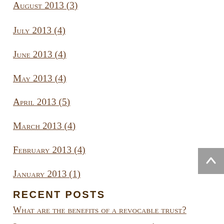August 2013 (3)
July 2013 (4)
June 2013 (4)
May 2013 (4)
April 2013 (5)
March 2013 (4)
February 2013 (4)
January 2013 (1)
Recent Posts
What are the benefits of a revocable trust?
3 reasons not to ignore a loved one's loneliness